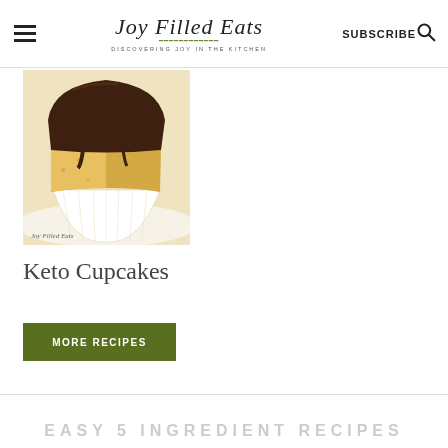Joy Filled Eats — DISCOVERING JOY IN THE KITCHEN — SUBSCRIBE
[Figure (photo): Close-up photo of a keto cupcake with chocolate topping, cut open to show yellow crumb interior, in a white fluted paper liner. Watermark reads 'Joy Filled Eats'.]
Keto Cupcakes
MORE RECIPES
EASY 5 INGREDIENT RECIPES